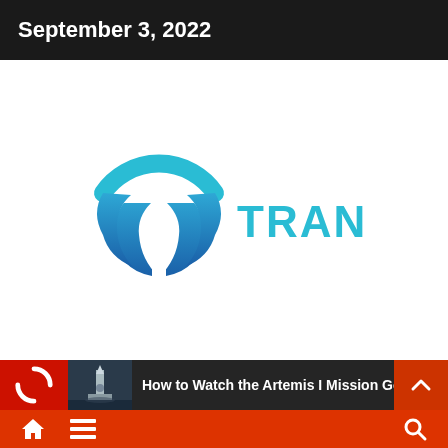September 3, 2022
[Figure (logo): Trance logo with circular T icon and TRANCE text in teal/blue]
How to Watch the Artemis I Mission Go...
Home menu and search navigation bar